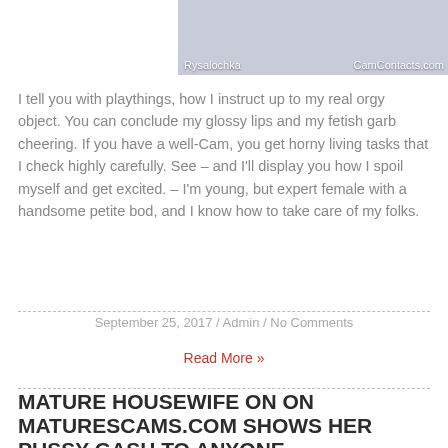[Figure (photo): Partial photo of a person with text overlay: 'Rysalochka' on left and 'CamContacts.com' on right]
I tell you with playthings, how I instruct up to my real orgy object. You can conclude my glossy lips and my fetish garb cheering. If you have a well-Cam, you get horny living tasks that I check highly carefully. See – and I'll display you how I spoil myself and get excited. – I'm young, but expert female with a handsome petite bod, and I know how to take care of my folks.
September 25, 2017 / Admin / No Comments
Read More »
MATURE HOUSEWIFE ON ON MATURESCAMS.COM SHOWS HER PUSSY GASH TO ANYONE